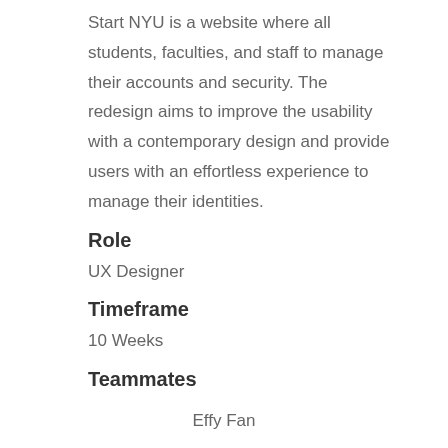Start NYU is a website where all students, faculties, and staff to manage their accounts and security. The redesign aims to improve the usability with a contemporary design and provide users with an effortless experience to manage their identities.
Role
UX Designer
Timeframe
10 Weeks
Teammates
Effy Fan
Sarth Desai